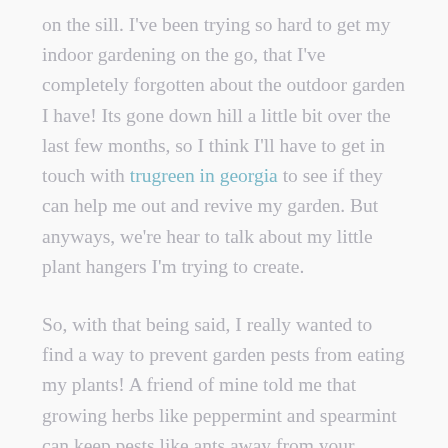on the sill. I've been trying so hard to get my indoor gardening on the go, that I've completely forgotten about the outdoor garden I have! Its gone down hill a little bit over the last few months, so I think I'll have to get in touch with trugreen in georgia to see if they can help me out and revive my garden. But anyways, we're hear to talk about my little plant hangers I'm trying to create.
So, with that being said, I really wanted to find a way to prevent garden pests from eating my plants! A friend of mine told me that growing herbs like peppermint and spearmint can keep pests like ants away from your garden and therefore I wanted to